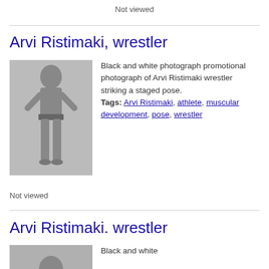Not viewed
Arvi Ristimaki, wrestler
[Figure (photo): Black and white promotional photograph of Arvi Ristimaki wrestler standing in a staged pose, shirtless wearing shorts with hands on hips]
Black and white photograph promotional photograph of Arvi Ristimaki wrestler striking a staged pose. Tags: Arvi Ristimaki, athlete, muscular development, pose, wrestler
Not viewed
Arvi Ristimaki. wrestler
[Figure (photo): Black and white photograph of Arvi Ristimaki, partially visible at bottom of page]
Black and white